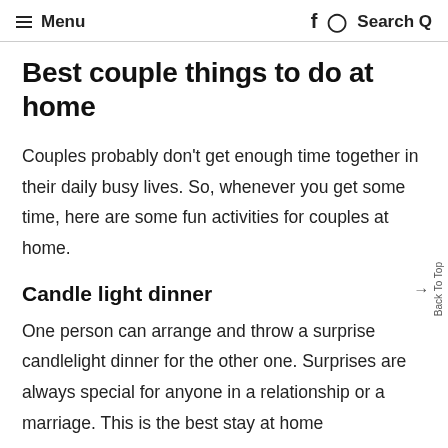≡ Menu   Facebook Pinterest Search
Best couple things to do at home
Couples probably don't get enough time together in their daily busy lives. So, whenever you get some time, here are some fun activities for couples at home.
Candle light dinner
One person can arrange and throw a surprise candlelight dinner for the other one. Surprises are always special for anyone in a relationship or a marriage. This is the best stay at home